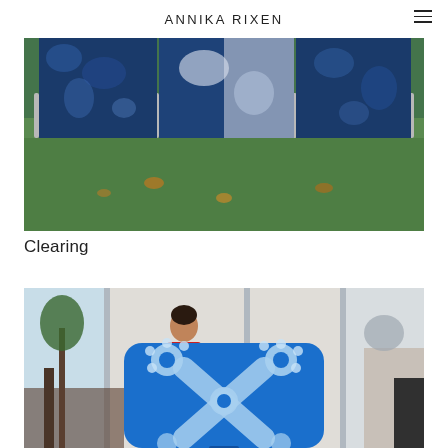ANNIKA RIXEN
[Figure (photo): Outdoor photo showing large blue and white cyanotype-print fabric panels mounted on metal pipe frames, displayed on a grassy lawn with fallen autumn leaves.]
Clearing
[Figure (photo): Indoor/outdoor scene with a woman in a red top seated at a desk visible in background, and in the foreground a bright blue chair back printed with cyanotype flower and cross motifs.]